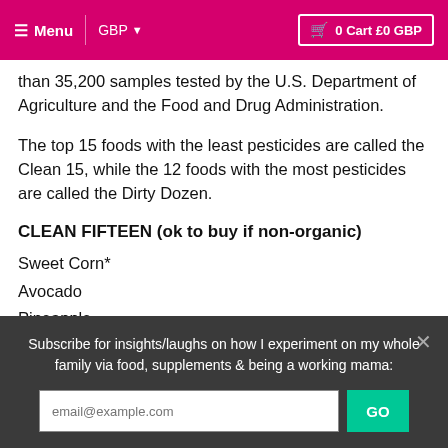Menu  GBP  0 Cart £0 GBP
than 35,200 samples tested by the U.S. Department of Agriculture and the Food and Drug Administration.
The top 15 foods with the least pesticides are called the Clean 15, while the 12 foods with the most pesticides are called the Dirty Dozen.
CLEAN FIFTEEN (ok to buy if non-organic)
Sweet Corn*
Avocado
Pineapple
Subscribe for insights/laughs on how I experiment on my whole family via food, supplements & being a working mama: